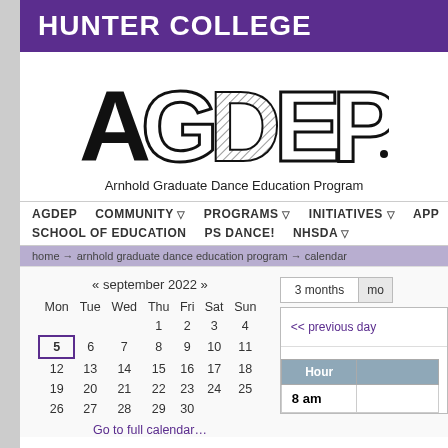HUNTER COLLEGE
[Figure (logo): AGDEP logo with stylized letters and subtitle: Arnhold Graduate Dance Education Program]
AGDEP  COMMUNITY ▽  PROGRAMS ▽  INITIATIVES ▽  APP  SCHOOL OF EDUCATION  PS DANCE!  NHSDA ▽
home → arnhold graduate dance education program → calendar
| Mon | Tue | Wed | Thu | Fri | Sat | Sun |
| --- | --- | --- | --- | --- | --- | --- |
|  |  |  | 1 | 2 | 3 | 4 |
| 5 | 6 | 7 | 8 | 9 | 10 | 11 |
| 12 | 13 | 14 | 15 | 16 | 17 | 18 |
| 19 | 20 | 21 | 22 | 23 | 24 | 25 |
| 26 | 27 | 28 | 29 | 30 |  |  |
Go to full calendar...
3 months  me
<< previous day
| Hour |  |
| --- | --- |
| 8 am |  |